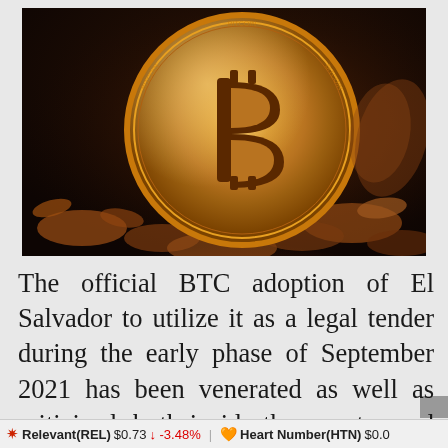[Figure (photo): Close-up photograph of a golden Bitcoin coin surrounded by other copper/bronze coins on a dark background]
The official BTC adoption of El Salvador to utilize it as a legal tender during the early phase of September 2021 has been venerated as well as criticized, both inside the country and outside it across the world. Although a significant
Relevant(REL) $0.73 ↓ -3.48%   Heart Number(HTN) $0.0